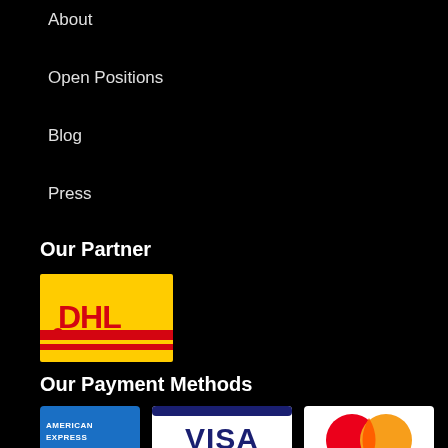About
Open Positions
Blog
Press
Our Partner
[Figure (logo): DHL logo — yellow background with red DHL lettering and red horizontal stripes]
Our Payment Methods
[Figure (logo): American Express payment logo — blue card]
[Figure (logo): Visa payment logo — white card with blue VISA text and gold bar]
[Figure (logo): MasterCard payment logo — overlapping red and orange circles]
[Figure (logo): PayPal payment logo — white card with PayPal text]
[Figure (logo): Klarna payment logo — pink rounded card with Klarna. text]
[Figure (logo): Partial payment logo at bottom left — white card]
[Figure (logo): Partial payment logo at bottom right — white card]